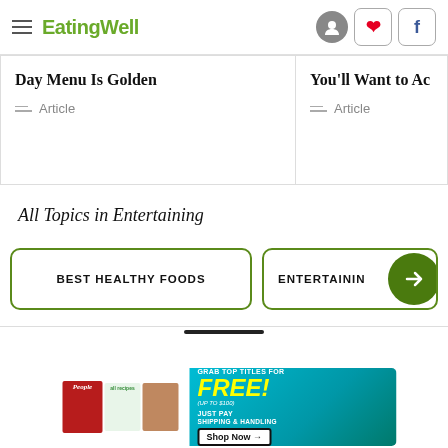EatingWell
Day Menu Is Golden
Article
You'll Want to Ac
Article
All Topics in Entertaining
BEST HEALTHY FOODS
ENTERTAINING
[Figure (screenshot): Advertisement banner: People and AllRecipes magazine covers with 'Grab top titles for FREE! (Up to $100) Just Pay Shipping & Handling. Shop Now →']